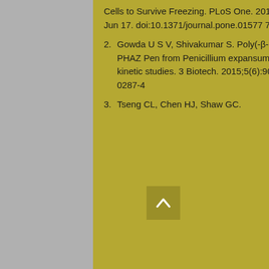Cells to Survive Freezing. PLoS One. 2016;11(6):e0157778. Published 2016 Jun 17. doi:10.1371/journal.pone.01577 78
2. Gowda U S V, Shivakumar S. Poly(-β-hydroxybutyrate) (PHB) depolymerase PHAZ Pen from Penicillium expansum: purification, characterization and kinetic studies. 3 Biotech. 2015;5(6):901–909. doi:10.1007/s13205-015-0287-4
3. Tseng CL, Chen HJ, Shaw GC.